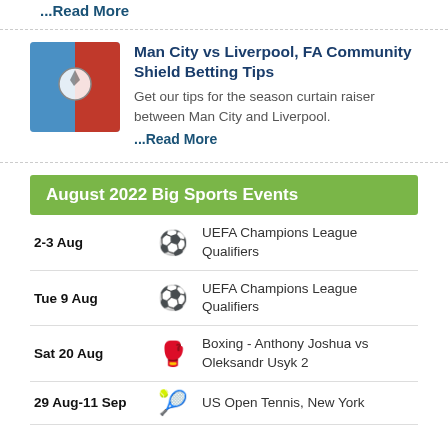...Read More
[Figure (photo): Thumbnail image for Man City vs Liverpool FA Community Shield article]
Man City vs Liverpool, FA Community Shield Betting Tips
Get our tips for the season curtain raiser between Man City and Liverpool.
...Read More
August 2022 Big Sports Events
| Date | Sport | Event |
| --- | --- | --- |
| 2-3 Aug | ⚽ | UEFA Champions League Qualifiers |
| Tue 9 Aug | ⚽ | UEFA Champions League Qualifiers |
| Sat 20 Aug | 🥊 | Boxing - Anthony Joshua vs Oleksandr Usyk 2 |
| 29 Aug-11 Sep | 🎾 | US Open Tennis, New York |